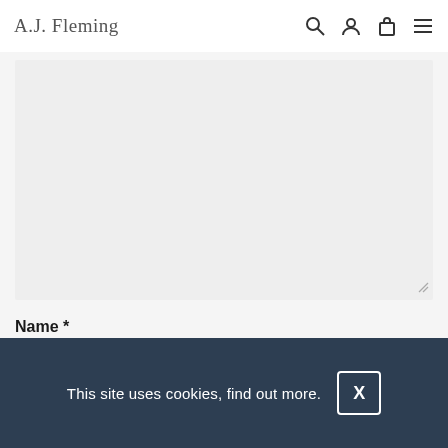A.J. Fleming
[Figure (screenshot): Textarea input field (large gray rectangle with resize handle at bottom-right)]
Name *
[Figure (screenshot): Name text input field (light gray rectangle)]
This site uses cookies, find out more.